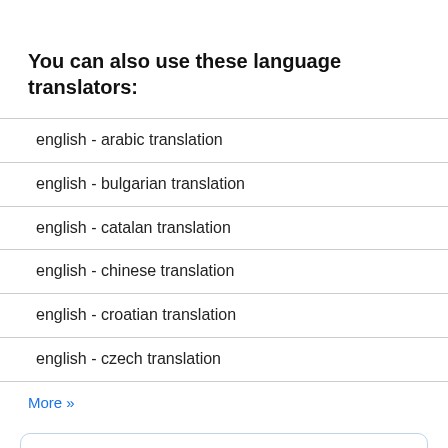You can also use these language translators:
english - arabic translation
english - bulgarian translation
english - catalan translation
english - chinese translation
english - croatian translation
english - czech translation
More »
About the language
Why use us?